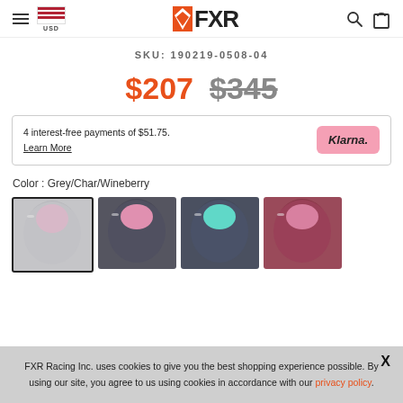FXR — USD
SKU: 190219-0508-04
$207  $345
4 interest-free payments of $51.75. Learn More  Klarna.
Color : Grey/Char/Wineberry
[Figure (photo): Four color variants of FXR jacket: Grey/Char/Wineberry (selected), dark charcoal with pink visor, dark with teal visor, wineberry/pink]
FXR Racing Inc. uses cookies to give you the best shopping experience possible. By using our site, you agree to us using cookies in accordance with our privacy policy.